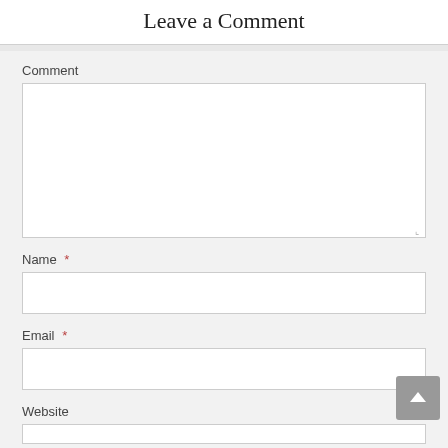Leave a Comment
Comment
Name *
Email *
Website